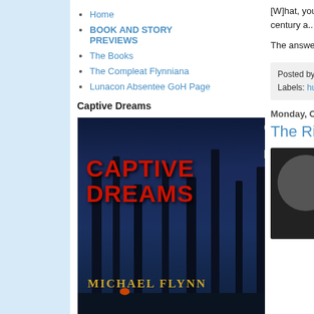Home
BOOK AND STORY PREVIEWS
The Books
The Compleat Flynniana
Lunacon Absentee GoH Page
Captive Dreams
[Figure (photo): Book cover for Captive Dreams by Michael Flynn — dark nighttime forest scene with tall trees and a metallic humanoid figure standing tall, title in red bold letters, author name in gold at bottom]
Captive Dreams
[W]hat, you ma... pope. For insta... 14th century a... when a pope m...
The answer: th... Anglican mome...
Posted by TheOFloinn at...
Labels: humor
Monday, October 26, 201...
The Rise of S...